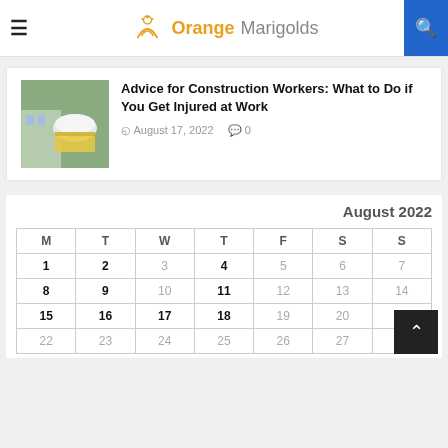Orange Marigolds
Advice for Construction Workers: What to Do if You Get Injured at Work
August 17, 2022  0
| M | T | W | T | F | S | S |
| --- | --- | --- | --- | --- | --- | --- |
| 1 | 2 | 3 | 4 | 5 | 6 | 7 |
| 8 | 9 | 10 | 11 | 12 | 13 | 14 |
| 15 | 16 | 17 | 18 | 19 | 20 | 21 |
| 22 | 23 | 24 | 25 | 26 | 27 | 28 |